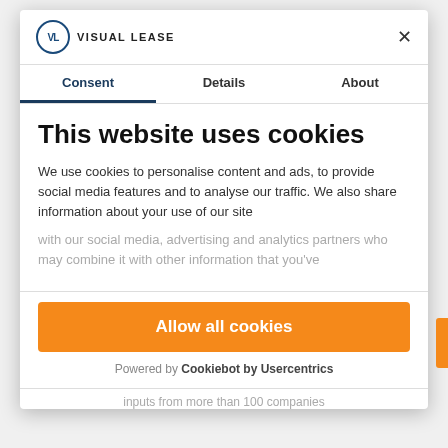[Figure (logo): Visual Lease logo with VL circle icon and text 'VISUAL LEASE']
×
Consent	Details	About
This website uses cookies
We use cookies to personalise content and ads, to provide social media features and to analyse our traffic. We also share information about your use of our site with our social media, advertising and analytics partners who may combine it with other information that you've
Allow all cookies
Powered by Cookiebot by Usercentrics
inputs from more than 100 companies